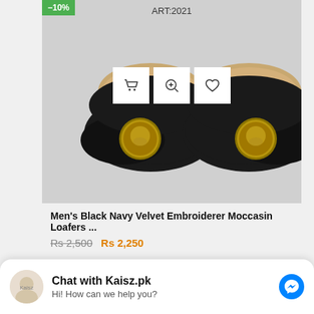[Figure (photo): Product listing screenshot showing black navy velvet moccasin loafers with gold lion emblem embroidery. Green -10% discount badge in top left. ART:2021 label at top. Three action icons (cart, zoom, wishlist) visible on the shoe image.]
Men's Black Navy Velvet Embroiderer Moccasin Loafers ...
Rs 2,500  Rs 2,250
Chat with Kaisz.pk
Hi! How can we help you?